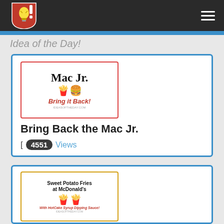[Figure (logo): Ideas of the Day logo — red shield with white light bulb and exclamation mark]
Idea of the Day!
[Figure (illustration): Mac Jr. promotional card with McDonald's arches logo, burger image, text 'Mac Jr.' and 'Bring it Back!']
Bring Back the Mac Jr.
[ 4551 Views
[Figure (illustration): Sweet Potato Fries at McDonald's promotional card with fries image and text 'With HotCake Syrup Dipping Sauce!']
Sweet Potato Fries at McDonald's
[ 4194 Views